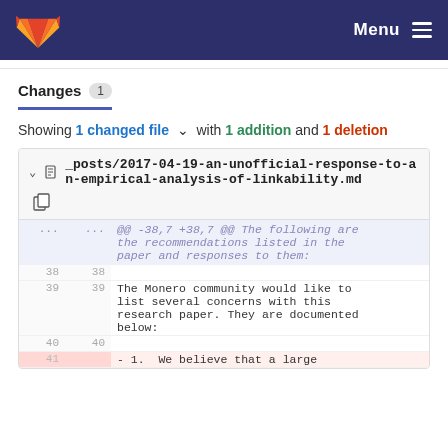GitLab — Menu
Changes 1
Showing 1 changed file with 1 addition and 1 deletion
| old | new | code |
| --- | --- | --- |
| ... | ... | @@ -38,7 +38,7 @@ The following are the recommendations listed in the paper and responses to them: |
| 38 | 38 |  |
| 39 | 39 | The Monero community would like to list several concerns with this research paper. They are documented below: |
| 40 | 40 |  |
| 41 |  | - 1.  We believe that a large |